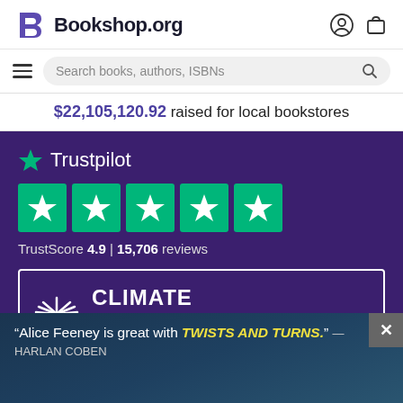[Figure (logo): Bookshop.org logo with stylized B in purple and wordmark]
[Figure (screenshot): Search bar with hamburger menu, placeholder text 'Search books, authors, ISBNs' and magnifying glass icon]
$22,105,120.92 raised for local bookstores
[Figure (infographic): Trustpilot rating section on dark purple background showing 5 green star boxes and TrustScore 4.9 | 15,706 reviews]
[Figure (screenshot): Climate pledge badge partially visible in white-bordered box]
[Figure (photo): Overlay advertisement showing quote 'Alice Feeney is great with TWISTS AND TURNS.' — HARLAN COBEN over a dark coastal scene with a close button X]